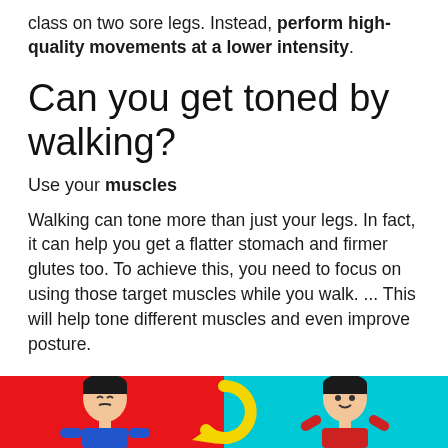class on two sore legs. Instead, perform high-quality movements at a lower intensity.
Can you get toned by walking?
Use your muscles
Walking can tone more than just your legs. In fact, it can help you get a flatter stomach and firmer glutes too. To achieve this, you need to focus on using those target muscles while you walk. ... This will help tone different muscles and even improve posture.
[Figure (illustration): Cartoon illustration showing two animated male figures on a split red and cyan background with a yellow circular arrow in the center, suggesting a workout or movement concept.]